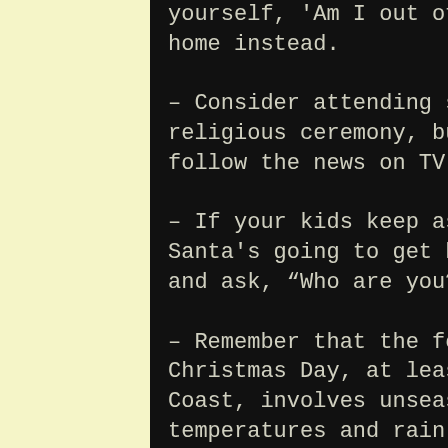yourself, 'Am I out of my mind?' and stay home instead.
– Consider attending some sort of religious ceremony, but then obsessively follow the news on TV and online instead.
– If your kids keep asking about when Santa's going to get here, stare at them and ask, “Who are you?”
– Remember that the forecast for Christmas Day, at least on the East Coast, involves unseasonably warm temperatures and rain, which feels appropriate.
– If you’re feeling especially overwhelmed, remind yourself that within a few years, we'll have luxury resort hotels in Cuba.